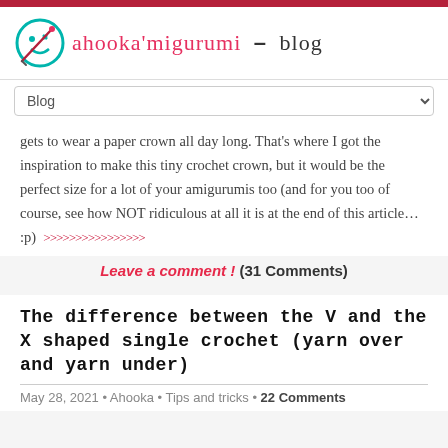ahooka'migurumi – blog
gets to wear a paper crown all day long. That's where I got the inspiration to make this tiny crochet crown, but it would be the perfect size for a lot of your amigurumis too (and for you too of course, see how NOT ridiculous at all it is at the end of this article… :p) >>>>>>>>>>>>>>>>
Leave a comment ! (31 Comments)
The difference between the V and the X shaped single crochet (yarn over and yarn under)
May 28, 2021 • Ahooka • Tips and tricks • 22 Comments